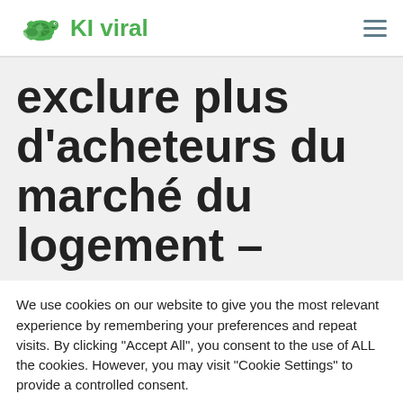KI viral
exclure plus d'acheteurs du marché du logement –
We use cookies on our website to give you the most relevant experience by remembering your preferences and repeat visits. By clicking "Accept All", you consent to the use of ALL the cookies. However, you may visit "Cookie Settings" to provide a controlled consent.
Cookie Settings | Accept All